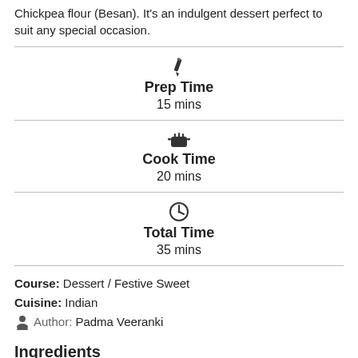Chickpea flour (Besan). It's an indulgent dessert perfect to suit any special occasion.
Prep Time
15 mins
Cook Time
20 mins
Total Time
35 mins
Course: Dessert / Festive Sweet
Cuisine: Indian
Author: Padma Veeranki
Ingredients
1 Cup Chickpea flour Besan
1 Cup Grated pumpkin
1-1½ Cup Sugar Adjust as per your taste